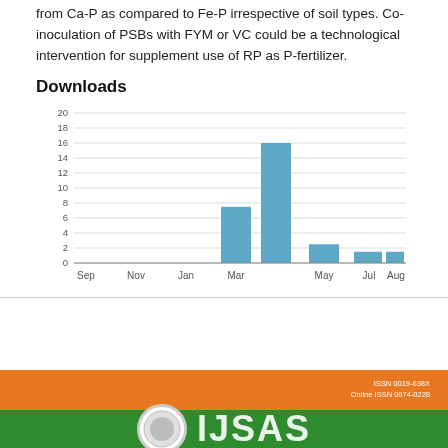from Ca-P as compared to Fe-P irrespective of soil types. Co-inoculation of PSBs with FYM or VC could be a technological intervention for supplement use of RP as P-fertilizer.
Downloads
[Figure (bar-chart): Downloads]
[Figure (logo): Journal footer banner with orange background showing ISSN numbers, and green strip with journal logo and name IJSAS]